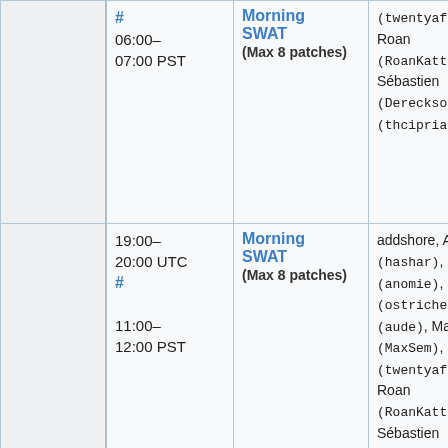|  | Time | Type | Names |
| --- | --- | --- | --- |
|  | 06:00–07:00 PST | Morning SWAT
(Max 8 patches) | (twentyafte...
Roan
(RoanKatto...
Sébastien
(Dereckson)
(thciprian... |
|  | 19:00–20:00 UTC #
11:00–12:00 PST | Morning SWAT
(Max 8 patches) | addshore, A
(hashar), Br
(anomie), Ch
(ostriches)
(aude), Max
(MaxSem), Mu
(twentyafte...
Roan
(RoanKatto...
Sébastien
(Dereckson)
(thciprian... |